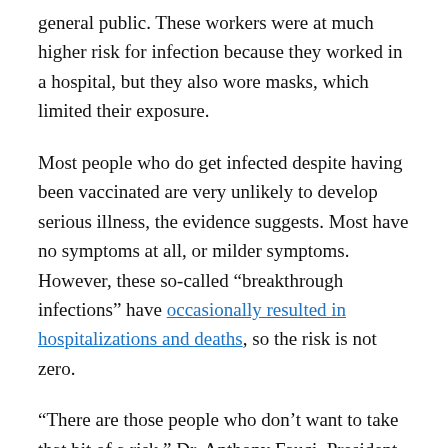general public. These workers were at much higher risk for infection because they worked in a hospital, but they also wore masks, which limited their exposure.
Most people who do get infected despite having been vaccinated are very unlikely to develop serious illness, the evidence suggests. Most have no symptoms at all, or milder symptoms. However, these so-called "breakthrough infections" have occasionally resulted in hospitalizations and deaths, so the risk is not zero.
"There are those people who don't want to take that bit of a risk," Dr. Anthony Fauci, President Biden's chief medical adviser, said on Thursday in the press briefing announcing the new guidelines. Those people may